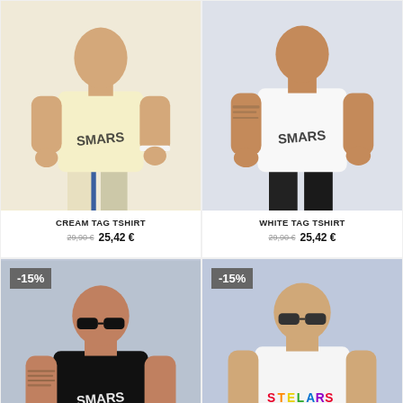[Figure (photo): Man wearing cream/yellow t-shirt with graffiti logo, upper body shot]
CREAM TAG TSHIRT
29,90 € 25,42 €
[Figure (photo): Man wearing white t-shirt with graffiti logo, upper body shot]
WHITE TAG TSHIRT
29,90 € 25,42 €
[Figure (photo): Man wearing black t-shirt with graffiti logo and sunglasses, -15% badge]
BLACK TAG TSHIRT
29,90 € 25,42 €
[Figure (photo): Man wearing spectrum/multicolor print white t-shirt with sunglasses, -15% badge]
SPECTRUM WHITE TSHIRT
29,90 € 25,42 €